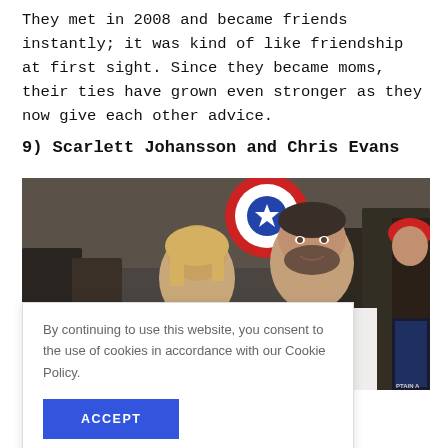They met in 2008 and became friends instantly; it was kind of like friendship at first sight. Since they became moms, their ties have grown even stronger as they now give each other advice.
9) Scarlett Johansson and Chris Evans
[Figure (photo): Photo of Scarlett Johansson and Chris Evans at a public event, surrounded by fans, with someone holding a Captain America shield in the background.]
By continuing to use this website, you consent to the use of cookies in accordance with our Cookie Policy.
ACCEPT